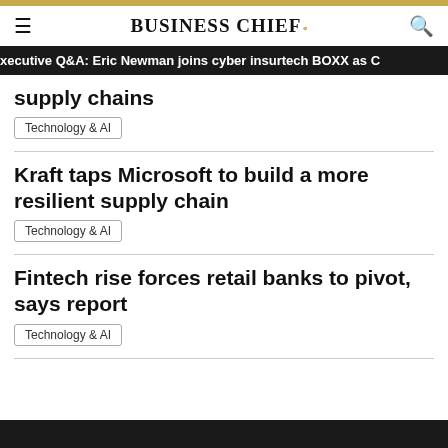BUSINESS CHIEF.
Executive Q&A: Eric Newman joins cyber insurtech BOXX as C
supply chains
Technology & AI
Kraft taps Microsoft to build a more resilient supply chain
Technology & AI
Fintech rise forces retail banks to pivot, says report
Technology & AI